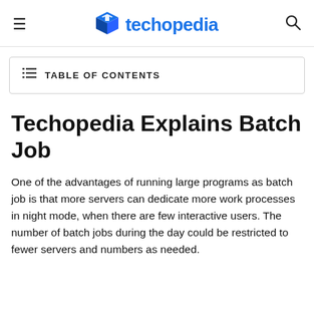techopedia
TABLE OF CONTENTS
Techopedia Explains Batch Job
One of the advantages of running large programs as batch job is that more servers can dedicate more work processes in night mode, when there are few interactive users. The number of batch jobs during the day could be restricted to fewer servers and numbers as needed.